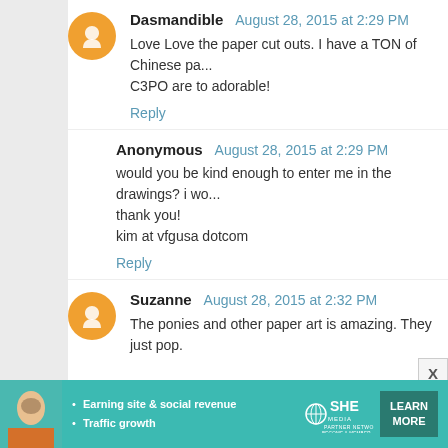Dasmandible August 28, 2015 at 2:29 PM
Love Love the paper cut outs. I have a TON of Chinese pa... C3PO are to adorable!
Reply
Anonymous August 28, 2015 at 2:29 PM
would you be kind enough to enter me in the drawings? i wo... thank you!
kim at vfgusa dotcom
Reply
Suzanne August 28, 2015 at 2:32 PM
The ponies and other paper art is amazing. They just pop.
And I love Katie Cook so please enter me in the bonus draw...
Reply
Bass Family August 28, 2015 at 2:32 PM
[Figure (infographic): SHE Media Partner Network ad banner: Earning site & social revenue, Traffic growth. LEARN MORE button.]